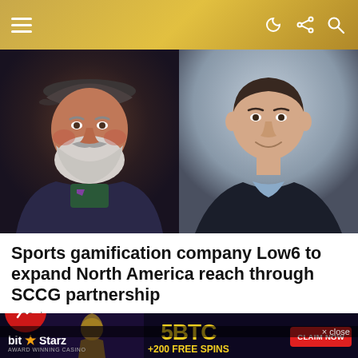Navigation bar with hamburger menu and icons
[Figure (photo): Two portrait photos side by side: left shows a bearded man wearing a flat cap and dark blazer; right shows a younger man in a dark zip-up jacket smiling at camera]
Sports gamification company Low6 to expand North America reach through SCCG partnership
26 days ago
[Figure (photo): BitStarz casino advertisement banner showing '5BTC +200 FREE SPINS' with a trending arrow icon and 'CLAIM NOW' button, plus a pharaoh/Egyptian themed image]
× close